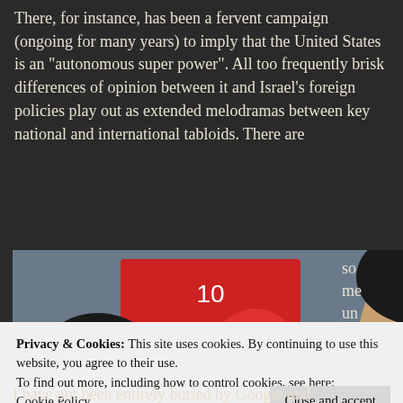There, for instance, has been a fervent campaign (ongoing for many years) to imply that the United States is an "autonomous super power". All too frequently brisk differences of opinion between it and Israel's foreign policies play out as extended melodramas between key national and international tabloids. There are some uncomfortable
[Figure (photo): A man being interviewed in what appears to be a public indoor space with balloons and signs visible in the background, with a woman partially visible to the left]
Privacy & Cookies: This site uses cookies. By continuing to use this website, you agree to their use.
To find out more, including how to control cookies, see here: Cookie Policy
Close and accept
I have not been entirely buried by Google and